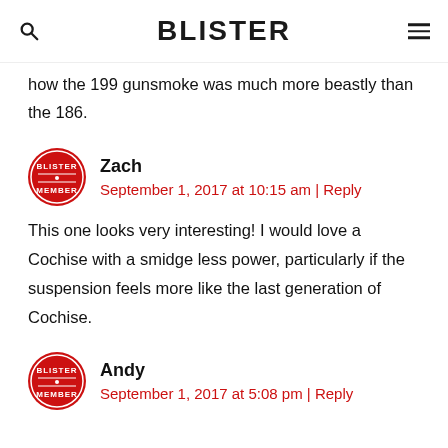BLISTER
how the 199 gunsmoke was much more beastly than the 186.
Zach
September 1, 2017 at 10:15 am | Reply
This one looks very interesting! I would love a Cochise with a smidge less power, particularly if the suspension feels more like the last generation of Cochise.
Andy
September 1, 2017 at 5:08 pm | Reply